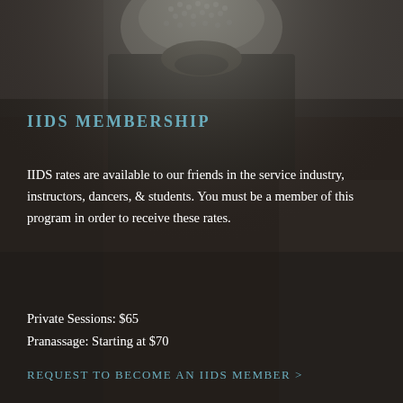[Figure (photo): Dark background photo showing a person in dark clothing with blurred/textured fabric detail visible at the top, serving as background for the membership information overlay.]
IIDS MEMBERSHIP
IIDS rates are available to our friends in the service industry, instructors, dancers, & students. You must be a member of this program in order to receive these rates.
Private Sessions: $65
Pranassage: Starting at $70
REQUEST TO BECOME AN IIDS MEMBER >